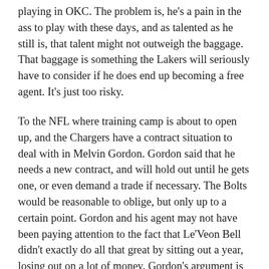playing in OKC. The problem is, he's a pain in the ass to play with these days, and as talented as he still is, that talent might not outweigh the baggage. That baggage is something the Lakers will seriously have to consider if he does end up becoming a free agent. It's just too risky.
To the NFL where training camp is about to open up, and the Chargers have a contract situation to deal with in Melvin Gordon. Gordon said that he needs a new contract, and will hold out until he gets one, or even demand a trade if necessary. The Bolts would be reasonable to oblige, but only up to a certain point. Gordon and his agent may not have been paying attention to the fact that Le'Veon Bell didn't exactly do all that great by sitting out a year, losing out on a lot of money. Gordon's argument is that you can't just replace a great running back. Apparently he's never heard of James Conner. I don't expect this to be a Khalil Mack situation, because the Chargers aren't as dumb as the Raiders, but there should be a reasonable compromise made